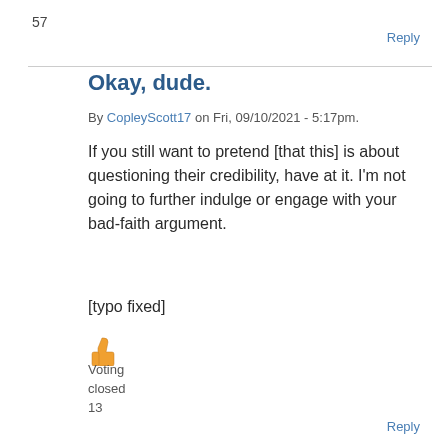57
Reply
Okay, dude.
By CopleyScott17 on Fri, 09/10/2021 - 5:17pm.
If you still want to pretend [that this] is about questioning their credibility, have at it. I'm not going to further indulge or engage with your bad-faith argument.
[typo fixed]
[Figure (other): Thumbs up emoji icon in orange/yellow color]
Voting
closed
13
Reply